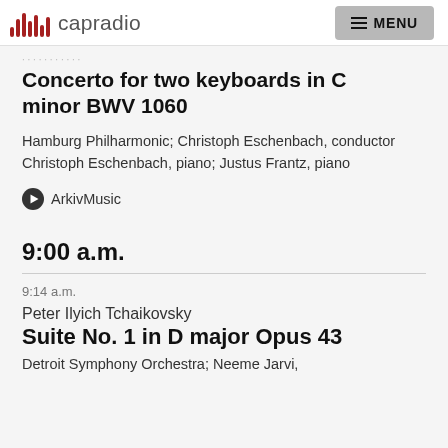capradio | MENU
Concerto for two keyboards in C minor BWV 1060
Hamburg Philharmonic; Christoph Eschenbach, conductor Christoph Eschenbach, piano; Justus Frantz, piano
ArkivMusic
9:00 a.m.
9:14 a.m.
Peter Ilyich Tchaikovsky
Suite No. 1 in D major Opus 43
Detroit Symphony Orchestra; Neeme Jarvi,